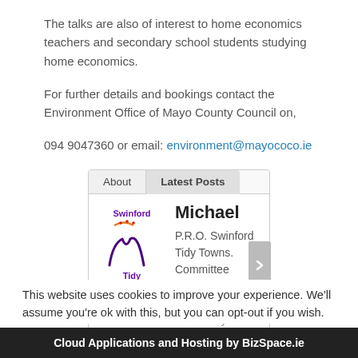The talks are also of interest to home economics teachers and secondary school students studying home economics.
For further details and bookings contact the Environment Office of Mayo County Council on,
094 9047360 or email: environment@mayococo.ie
[Figure (other): Tab widget showing 'About' and 'Latest Posts' tabs. The About tab content shows a Swinford Tidy Towns logo and profile for Michael, P.R.O. Swinford Tidy Towns. Committee meetings every Tuesday night at 8 in Cateway...]
This website uses cookies to improve your experience. We'll assume you're ok with this, but you can opt-out if you wish.
Cloud Applications and Hosting by BizSpace.ie